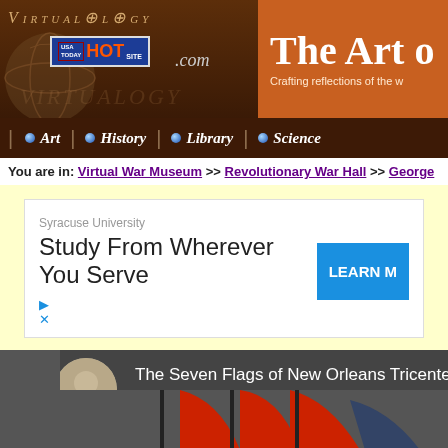[Figure (screenshot): Virtualology.com website header banner with globe image, USA Today Hot Site badge, and 'The Art of...' header in orange panel]
| Art | History | Library | Science
You are in: Virtual War Museum >> Revolutionary War Hall >> George
[Figure (screenshot): Syracuse University advertisement: 'Study From Wherever You Serve' with LEARN MORE button]
[Figure (photo): Video thumbnail showing 'The Seven Flags of New Orleans Tricentennia' with people and flags]